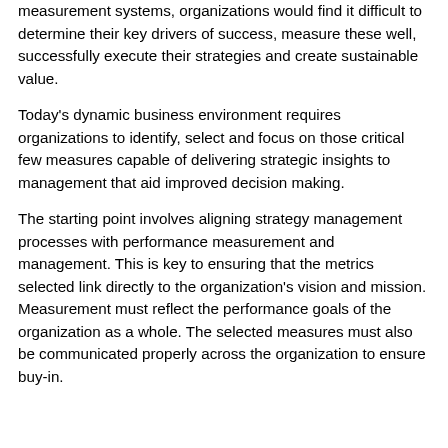measurement systems, organizations would find it difficult to determine their key drivers of success, measure these well, successfully execute their strategies and create sustainable value.
Today's dynamic business environment requires organizations to identify, select and focus on those critical few measures capable of delivering strategic insights to management that aid improved decision making.
The starting point involves aligning strategy management processes with performance measurement and management. This is key to ensuring that the metrics selected link directly to the organization's vision and mission. Measurement must reflect the performance goals of the organization as a whole. The selected measures must also be communicated properly across the organization to ensure buy-in.